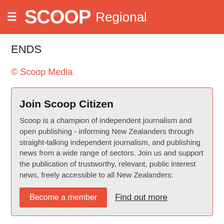SCOOP Regional
ENDS
© Scoop Media
Join Scoop Citizen
Scoop is a champion of independent journalism and open publishing - informing New Zealanders through straight-talking independent journalism, and publishing news from a wide range of sectors. Join us and support the publication of trustworthy, relevant, public interest news, freely accessible to all New Zealanders:
Become a member  Find out more